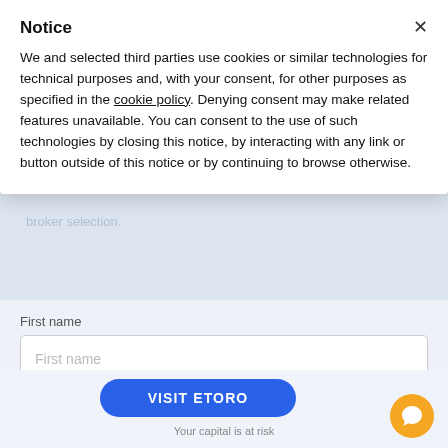Notice
We and selected third parties use cookies or similar technologies for technical purposes and, with your consent, for other purposes as specified in the cookie policy. Denying consent may make related features unavailable. You can consent to the use of such technologies by closing this notice, by interacting with any link or button outside of this notice or by continuing to browse otherwise.
First name
First name
Email address
VISIT ETORO
Your capital is at risk